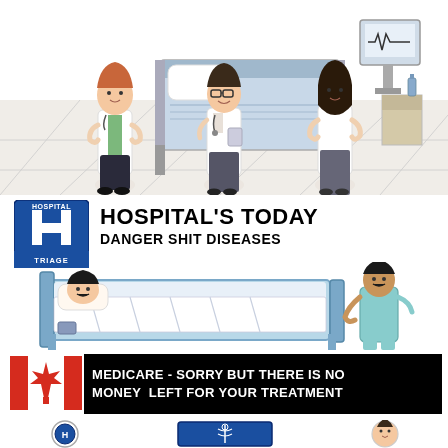[Figure (illustration): Three female doctors in white lab coats standing in a hospital room with a bed, monitor, and medical equipment. Cartoon/illustration style.]
[Figure (logo): Blue Hospital H Triage sign badge]
HOSPITAL'S TODAY
DANGER SHIT DISEASES
[Figure (illustration): Cartoon illustration of a male patient lying in a hospital bed with another person (visitor or patient) standing beside it.]
[Figure (illustration): Canadian flag (red and white with maple leaf)]
MEDICARE - SORRY BUT THERE IS NO MONEY LEFT FOR YOUR TREATMENT
[Figure (illustration): Bottom row with three small illustrations: a circular emblem, a medical/caduceus-style sign, and a person's face.]